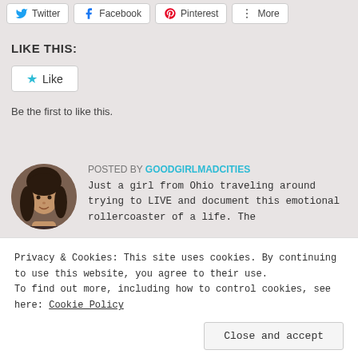[Figure (other): Social share buttons: Twitter, Facebook, Pinterest, More]
LIKE THIS:
[Figure (other): Like button with blue star icon]
Be the first to like this.
POSTED BY GOODGIRLMADCITIES
[Figure (photo): Circular avatar photo of a young woman with dark hair]
Just a girl from Ohio traveling around trying to LIVE and document this emotional rollercoaster of a life. The
Privacy & Cookies: This site uses cookies. By continuing to use this website, you agree to their use.
To find out more, including how to control cookies, see here: Cookie Policy
Close and accept
My mantra: "Nothing is permanent but